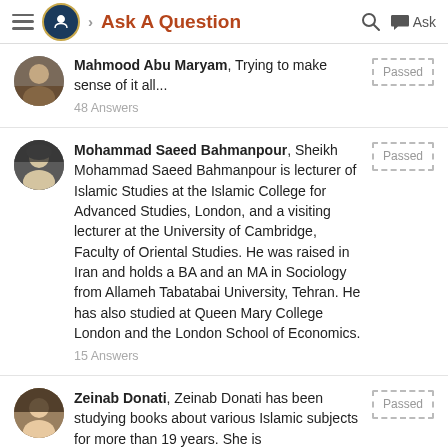Ask A Question
Mahmood Abu Maryam, Trying to make sense of it all... 48 Answers [Passed]
Mohammad Saeed Bahmanpour, Sheikh Mohammad Saeed Bahmanpour is lecturer of Islamic Studies at the Islamic College for Advanced Studies, London, and a visiting lecturer at the University of Cambridge, Faculty of Oriental Studies. He was raised in Iran and holds a BA and an MA in Sociology from Allameh Tabatabai University, Tehran. He has also studied at Queen Mary College London and the London School of Economics. 15 Answers [Passed]
Zeinab Donati, Zeinab Donati has been studying books about various Islamic subjects for more than 19 years. She is [Passed]